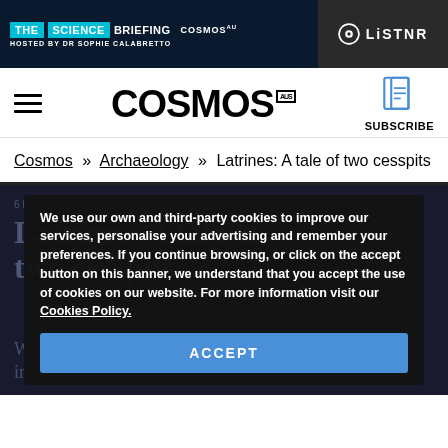[Figure (logo): The Science Briefing podcast banner hosted by Dr Sophie Calabretto, with Cosmos and LiSTNR branding on dark blue background]
[Figure (logo): Cosmos Magazine navigation bar with hamburger menu, large COSMOS logo, and subscribe button with book icon]
Cosmos » Archaeology » Latrines: A tale of two cesspits
We use our own and third-party cookies to improve our services, personalise your advertising and remember your preferences. If you continue browsing, or click on the accept button on this banner, we understand that you accept the use of cookies on our website. For more information visit our Cookies Policy.
ACCEPT